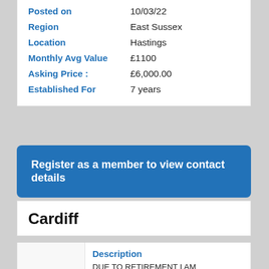| Field | Value |
| --- | --- |
| Posted on | 10/03/22 |
| Region | East Sussex |
| Location | Hastings |
| Monthly Avg Value | £1100 |
| Asking Price : | £6,000.00 |
| Established For | 7 years |
Register as a member to view contact details
Cardiff
Description
DUE TO RETIREMENT I AM CURRENTLY SELLING MY WINDOW CLEANING